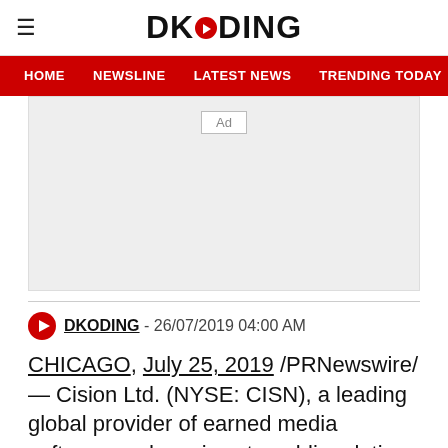DKODING
HOME  NEWSLINE  LATEST NEWS  TRENDING TODAY  ENT
[Figure (other): Advertisement placeholder box with 'Ad' label]
DKODING - 26/07/2019 04:00 AM
CHICAGO, July 25, 2019 /PRNewswire/ — Cision Ltd. (NYSE: CISN), a leading global provider of earned media software and services to public relations and marketing